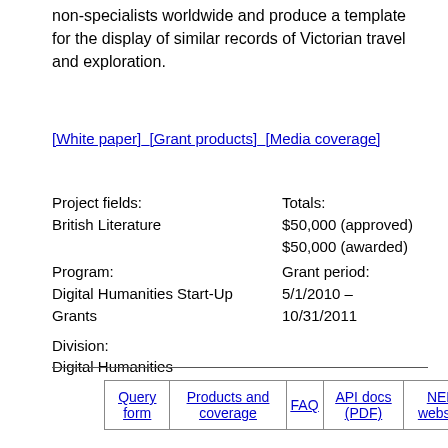non-specialists worldwide and produce a template for the display of similar records of Victorian travel and exploration.
[White paper] [Grant products] [Media coverage]
| Project fields: | Totals: |
| British Literature | $50,000 (approved) |
|  | $50,000 (awarded) |
| Program: | Grant period: |
| Digital Humanities Start-Up Grants | 5/1/2010 – 10/31/2011 |
| Division: |  |
| Digital Humanities |  |
| Query form | Products and coverage | FAQ | API docs (PDF) | NEH website |
| --- | --- | --- | --- | --- |